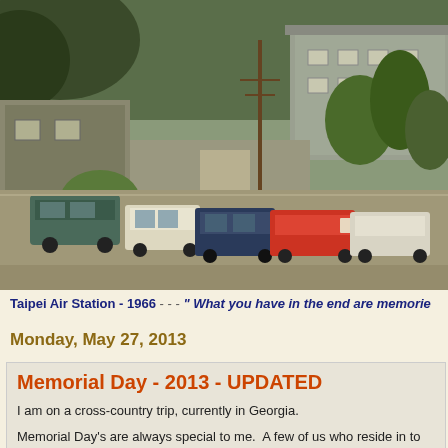[Figure (photo): Vintage color photograph of Taipei Air Station in 1966, showing a parking lot with classic American cars from the 1950s-60s era lined up along a street, with low military-style buildings and tropical trees in the background.]
Taipei Air Station - 1966 - - - " What you have in the end are memorie
Monday, May 27, 2013
Memorial Day - 2013 - UPDATED
I am on a cross-country trip, currently in Georgia.
Memorial Day's are always special to me.  A few of us who reside in to our fallen, each Memorial Day for the past two years.
This year the few of us who experienced the Memorial D...